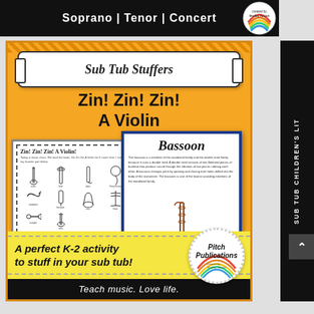Soprano | Tenor | Concert
[Figure (illustration): Educational product cover: Sub Tub Stuffers - Zin! Zin! Zin! A Violin, showing worksheet previews for music class activity]
Sub Tub Stuffers
Zin! Zin! Zin! A Violin
A perfect K-2 activity to stuff in your sub tub!
Teach music. Love life.